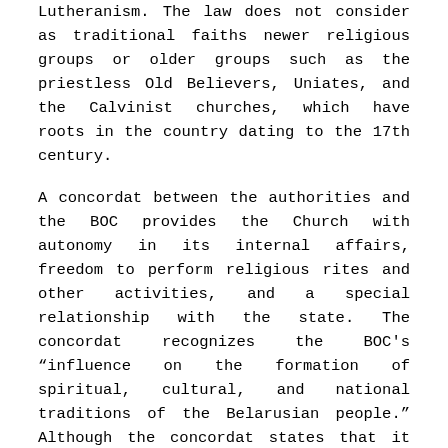Lutheranism. The law does not consider as traditional faiths newer religious groups or older groups such as the priestless Old Believers, Uniates, and the Calvinist churches, which have roots in the country dating to the 17th century.
A concordat between the authorities and the BOC provides the Church with autonomy in its internal affairs, freedom to perform religious rites and other activities, and a special relationship with the state. The concordat recognizes the BOC’s “influence on the formation of spiritual, cultural, and national traditions of the Belarusian people.” Although the concordat states that it does not limit the religious freedom of other religious groups, it calls for the authorities and the BOC to combat unnamed “pseudo-religious structures that present a danger to individuals and society.” The BOC, unlike other religious communities, receives state subsidies pursuant to presidential orders. In addition, the BOC possesses the exclusive right to use the word “orthodox” in its title and to use